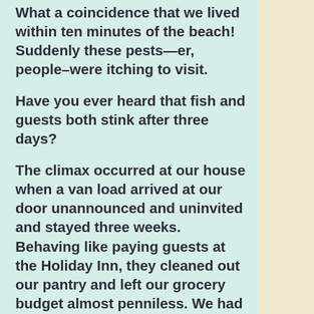What a coincidence that we lived within ten minutes of the beach! Suddenly these pests—er, people–were itching to visit.

Have you ever heard that fish and guests both stink after three days?

The climax occurred at our house when a van load arrived at our door unannounced and uninvited and stayed three weeks.  Behaving like paying guests at the Holiday Inn, they cleaned out our pantry and left our grocery budget almost penniless. We had several small children at the time and needed every penny to feed our own brood. These pesky visitors left behind a wake of messes and clutter.